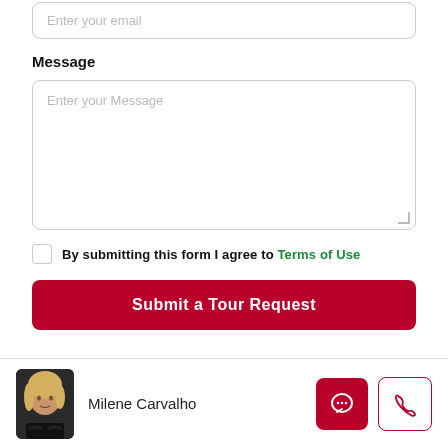Enter your email
Message
Enter your Message
By submitting this form I agree to Terms of Use
Submit a Tour Request
Milene Carvalho
[Figure (photo): Agent photo of Milene Carvalho, a woman with blonde hair wearing a black outfit]